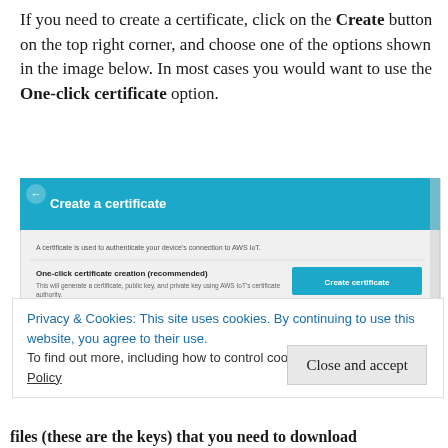If you need to create a certificate, click on the Create button on the top right corner, and choose one of the options shown in the image below. In most cases you would want to use the One-click certificate option.
[Figure (screenshot): Screenshot of AWS IoT 'Create a certificate' dialog with options: 'One-click certificate creation (recommended)' with a 'Create certificate' button, and 'Create with CSR' with a 'Create with CSR' button.]
Privacy & Cookies: This site uses cookies. By continuing to use this website, you agree to their use.
To find out more, including how to control cookies, see here: Cookie Policy
files (these are the keys) that you need to download